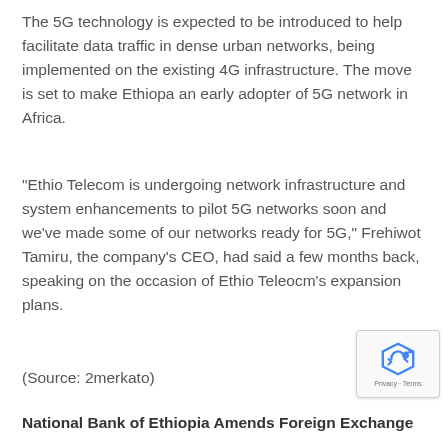The 5G technology is expected to be introduced to help facilitate data traffic in dense urban networks, being implemented on the existing 4G infrastructure. The move is set to make Ethiopa an early adopter of 5G network in Africa.
“Ethio Telecom is undergoing network infrastructure and system enhancements to pilot 5G networks soon and we’ve made some of our networks ready for 5G,” Frehiwot Tamiru, the company’s CEO, had said a few months back, speaking on the occasion of Ethio Teleocm’s expansion plans.
(Source: 2merkato)
National Bank of Ethiopia Amends Foreign Exchange